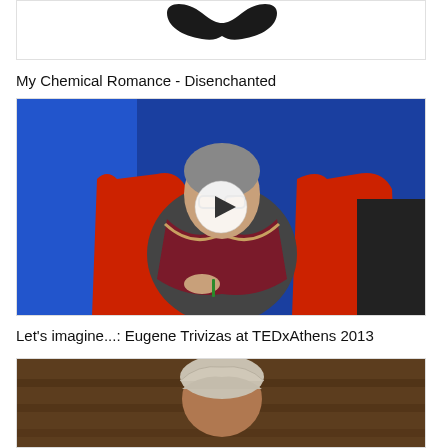[Figure (screenshot): Top portion of a thumbnail showing a mustache logo/icon on white background, partially cropped]
My Chemical Romance - Disenchanted
[Figure (screenshot): Video thumbnail showing Eugene Trivizas seated in a red chair against a blue background at TEDxAthens 2013, with a play button overlay]
Let's imagine...: Eugene Trivizas at TEDxAthens 2013
[Figure (screenshot): Video thumbnail showing a person with a towel wrapped around their head against a dark/wooden background, partially cropped at bottom]